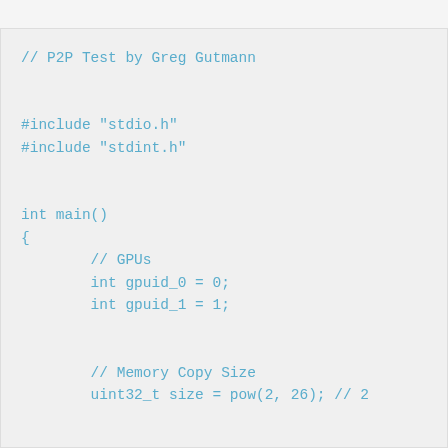[Figure (screenshot): C code snippet showing a P2P test program by Greg Gutmann. Includes stdio.h and stdint.h headers, int main() function opening brace, GPU variable declarations (gpuid_0 = 0, gpuid_1 = 1), Memory Copy Size comment, and uint32_t size = pow(2, 26); // 2 (truncated)]